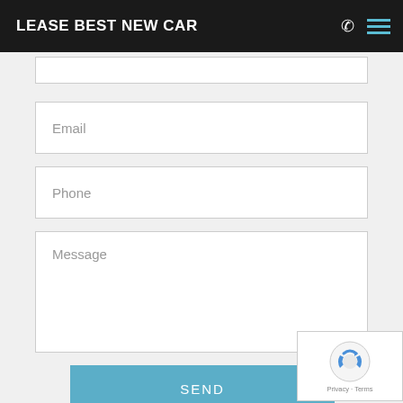LEASE BEST NEW CAR
[Figure (screenshot): Contact form with Email, Phone, Message fields and SEND button]
Email
Phone
Message
SEND
[Figure (logo): reCAPTCHA badge with Privacy - Terms text]